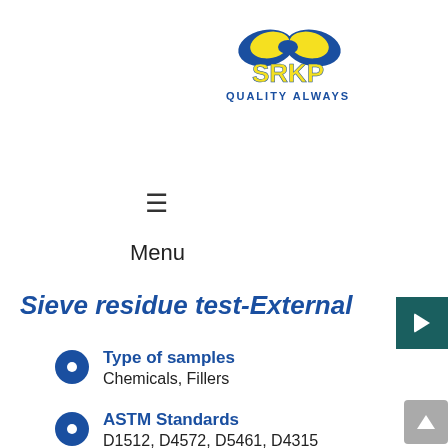[Figure (logo): SRKP logo with yellow and blue infinity-like symbol above text 'SRKP QUALITY ALWAYS']
≡
Menu
Sieve residue test-External
Type of samples
Chemicals, Fillers
ASTM Standards
D1512, D4572, D5461, D4315